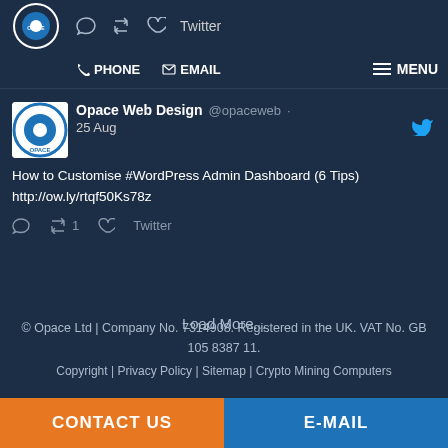Opace Web Design — Twitter | PHONE | EMAIL | MENU
[Figure (logo): Opace circular logo with OPACE text, blue and white]
Opace Web Design @opaceweb · 25 Aug
How to Customise #WordPress Admin Dashboard (6 Tips) http://ow.ly/rtqf50Ks78z
🔁 1 ♡ Twitter
Load More...
© Opace Ltd | Company No. 7314908. Registered in the UK. VAT No. GB 105 8387 11.
Copyright | Privacy Policy | Sitemap | Crypto Mining Computers
CONTACT US
E-MAIL